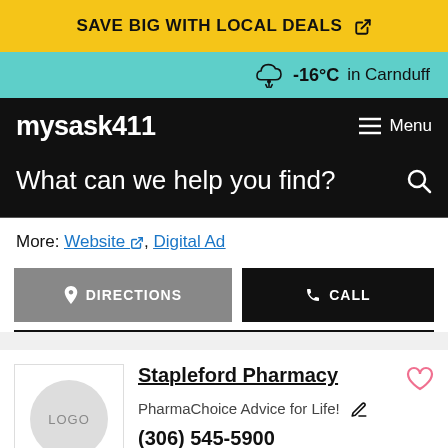SAVE BIG WITH LOCAL DEALS
-16°C in Carnduff
mysask411  Menu
What can we help you find?
More: Website, Digital Ad
DIRECTIONS  CALL
Stapleford Pharmacy
PharmaChoice Advice for Life!
(306) 545-5900